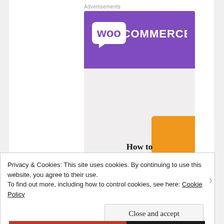Advertisements
[Figure (illustration): WooCommerce advertisement banner with purple top section showing WooCommerce logo and grey lower section with orange accent shape, and text 'How to start selling subscriptions online']
Privacy & Cookies: This site uses cookies. By continuing to use this website, you agree to their use.
To find out more, including how to control cookies, see here: Cookie Policy
Close and accept